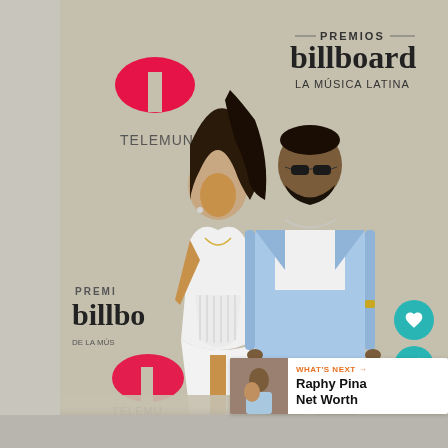[Figure (photo): A couple posing at the Premios Billboard de la Música Latina red carpet event. A woman in a white corset gown with a high slit and a man in a light blue suit with sunglasses stand in front of a step-and-repeat banner showing Telemundo and Premios Billboard de la Música Latina logos.]
WHAT'S NEXT → Raphy Pina Net Worth